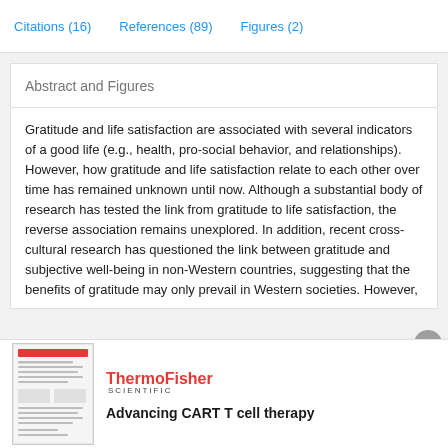Citations (16)   References (89)   Figures (2)
Abstract and Figures
Gratitude and life satisfaction are associated with several indicators of a good life (e.g., health, pro-social behavior, and relationships). However, how gratitude and life satisfaction relate to each other over time has remained unknown until now. Although a substantial body of research has tested the link from gratitude to life satisfaction, the reverse association remains unexplored. In addition, recent cross-cultural research has questioned the link between gratitude and subjective well-being in non-Western countries, suggesting that the benefits of gratitude may only prevail in Western societies. However,
[Figure (other): Advertisement thumbnail showing a scientific paper document preview]
ThermoFisher SCIENTIFIC
Advancing CART T cell therapy